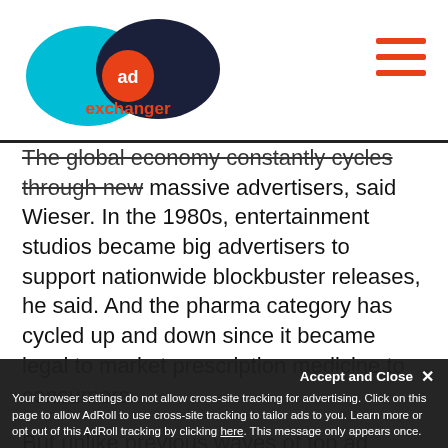[Figure (logo): AdExchanger logo — two overlapping ovals (cyan and dark navy) with orange 'ad' circle and orange 'exchanger' text below]
The global economy constantly cycles through new massive advertisers, said Wieser. In the 1980s, entertainment studios became big advertisers to support nationwide blockbuster releases, he said. And the pharma category has cycled up and down since it became legal to market prescription medicine to consumers.
But unlike previous waves of top ad spenders, tech companies are also the fastest-growing media sellers, creating a virtuous cycle of spend and earn for online ad platforms.
Your browser settings do not allow cross-site tracking for advertising. Click on this page to allow AdRoll to use cross-site tracking to tailor ads to you. Learn more or opt out of this AdRoll tracking by clicking here. This message only appears once.